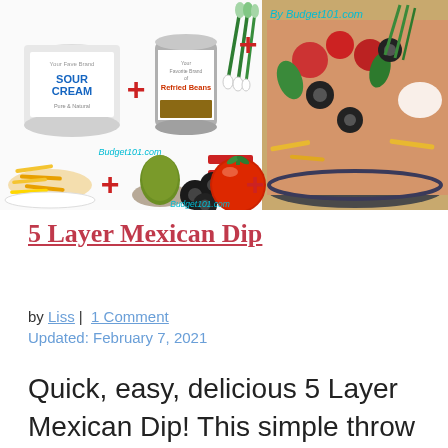[Figure (infographic): Recipe infographic showing ingredients: sour cream + refried beans + green onions = layered dip image, plus cheese + spices + black olives + tomato + more. Photo of finished 5 Layer Mexican Dip in a bowl on the right. Budget101.com watermark visible.]
5 Layer Mexican Dip
by Liss |  1 Comment
Updated: February 7, 2021
Quick, easy, delicious 5 Layer Mexican Dip! This simple throw